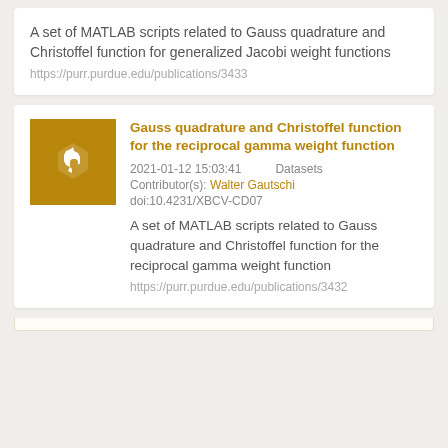A set of MATLAB scripts related to Gauss quadrature and Christoffel function for generalized Jacobi weight functions
https://purr.purdue.edu/publications/3433
[Figure (logo): Purdue University Research Repository (PURR) logo — gold hexagonal icon on gold background]
Gauss quadrature and Christoffel function for the reciprocal gamma weight function
2021-01-12 15:03:41    Datasets
Contributor(s): Walter Gautschi
doi:10.4231/XBCV-CD07
A set of MATLAB scripts related to Gauss quadrature and Christoffel function for the reciprocal gamma weight function
https://purr.purdue.edu/publications/3432